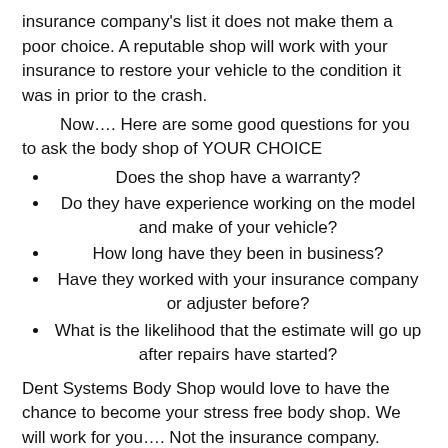insurance company's list it does not make them a poor choice. A reputable shop will work with your insurance to restore your vehicle to the condition it was in prior to the crash.
Now…. Here are some good questions for you to ask the body shop of YOUR CHOICE
Does the shop have a warranty?
Do they have experience working on the model and make of your vehicle?
How long have they been in business?
Have they worked with your insurance company or adjuster before?
What is the likelihood that the estimate will go up after repairs have started?
Dent Systems Body Shop would love to have the chance to become your stress free body shop. We will work for you…. Not the insurance company.